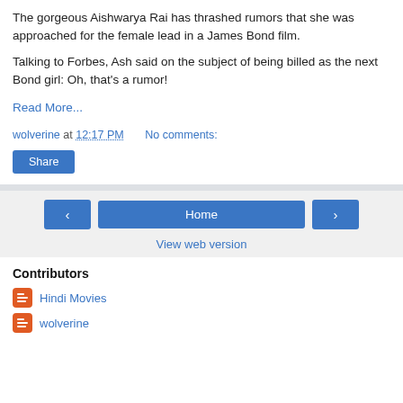The gorgeous Aishwarya Rai has thrashed rumors that she was approached for the female lead in a James Bond film.
Talking to Forbes, Ash said on the subject of being billed as the next Bond girl: Oh, that's a rumor!
Read More...
wolverine at 12:17 PM    No comments:
Share
Home
View web version
Contributors
Hindi Movies
wolverine